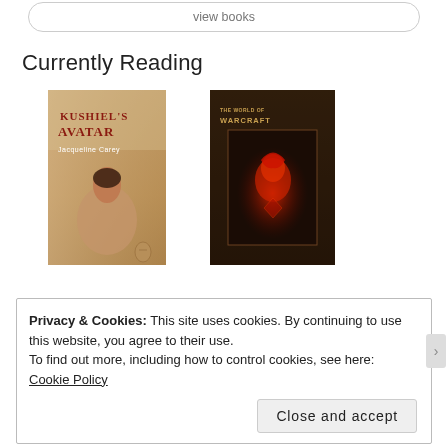view books
Currently Reading
[Figure (photo): Book cover of Kushiel's Avatar by Jacqueline Carey — fantasy novel with a woman sitting against a misty background]
[Figure (photo): Book cover of The World of Warcraft — dark brown cover with a glowing red hooded figure]
Privacy & Cookies: This site uses cookies. By continuing to use this website, you agree to their use.
To find out more, including how to control cookies, see here: Cookie Policy
Close and accept